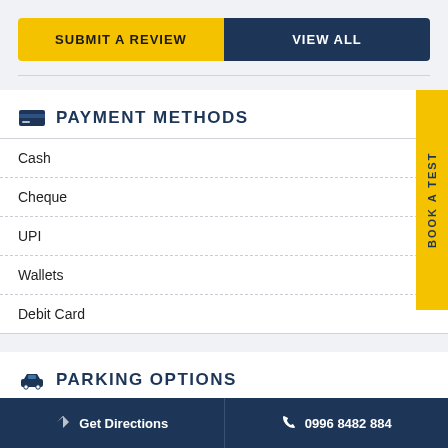SUBMIT A REVIEW
VIEW ALL
PAYMENT METHODS
Cash
Cheque
UPI
Wallets
Debit Card
PARKING OPTIONS
On Site Parking
Get Directions  |  0996 8482 884
BOOK A TEST